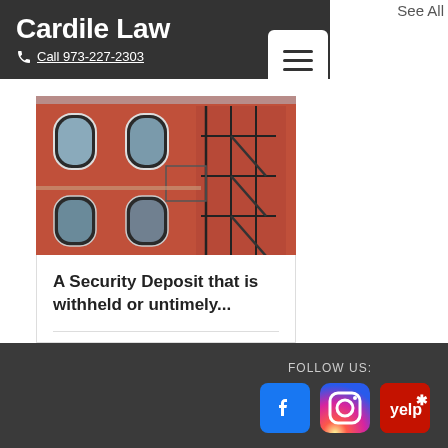See All
Cardile Law
Call 973-227-2303
[Figure (photo): Red brick building with fire escape, arched windows and exterior stairs]
A Security Deposit that is withheld or untimely...
69 views  0 comments  Like
FOLLOW US: Facebook, Instagram, Yelp